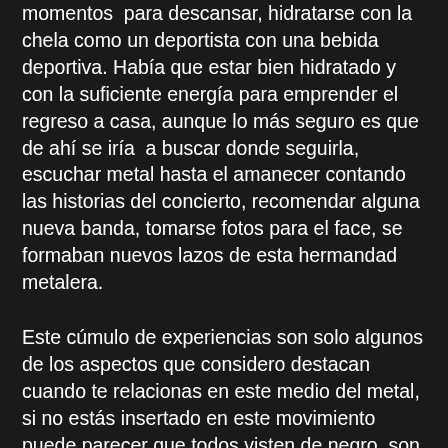momentos  para descansar, hidratarse con la chela como un deportista con una bebida deportiva. Había que estar bien hidratado y con la suficiente energía para emprender el regreso a casa, aunque lo más seguro es que de ahí se iría  a buscar donde seguirla, escuchar metal hasta el amanecer contando las historias del concierto, recomendar alguna nueva banda, tomarse fotos para el face, se formaban nuevos lazos de esta hermandad metalera.
Este cúmulo de experiencias son solo algunos de los aspectos que considero destacan cuando te relacionas en este medio del metal, si no estás insertado en este movimiento puede parecer que todos visten de negro, son malos y escuchan música pesada, sin embargo es toda una cultura con peculiaridades y roles sociales que son más genuinos de lo que parece, sin embargo considero que es un dispositivo que otorga identidad,